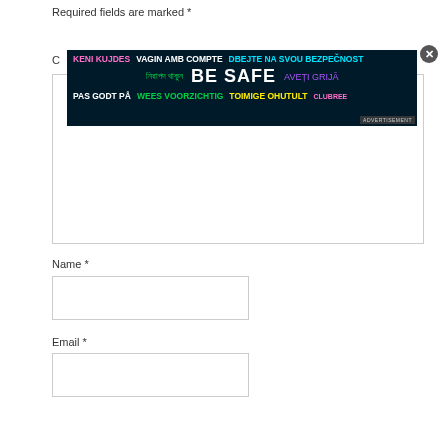Required fields are marked *
C
[Figure (infographic): Safety advertisement banner with multilingual 'BE SAFE' message on dark background. Text in various colors: 'KENI KUJDES' (pink), 'VAGIN AMB COMPTE' (white), 'DBEJTE NA SVOU BEZPEČNOST' (cyan), Bengali text (green), 'BE SAFE' (white bold large), 'AVEȚI GRIJĂ' (purple), 'PAS GODT PÅ' (white), 'WEES VOORZICHTIG' (green), 'TOIMIGE OHUTULT' (yellow), 'ADVERTISEMENT' label]
Name *
Email *